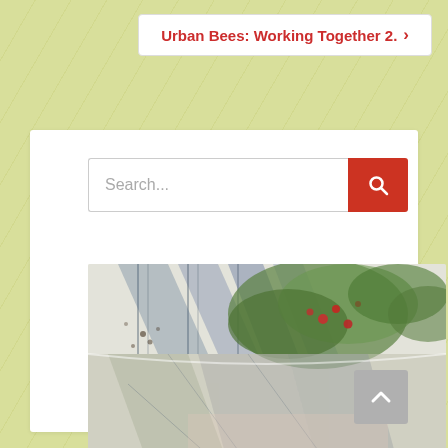Urban Bees: Working Together 2. ›
Search...
[Figure (photo): An open book or printed artwork showing architectural drawings overlaid with plant/leaf imagery, including red berries and green foliage on top of blueprint-style building facades.]
▲ (scroll to top button)